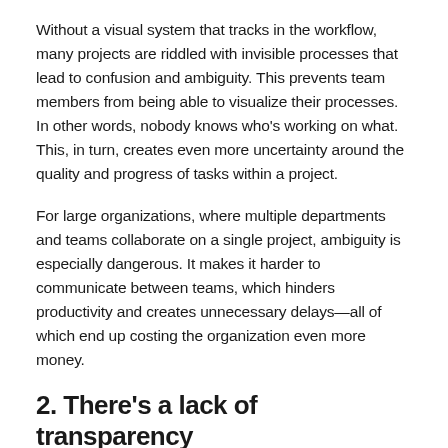Without a visual system that tracks in the workflow, many projects are riddled with invisible processes that lead to confusion and ambiguity. This prevents team members from being able to visualize their processes. In other words, nobody knows who's working on what. This, in turn, creates even more uncertainty around the quality and progress of tasks within a project.
For large organizations, where multiple departments and teams collaborate on a single project, ambiguity is especially dangerous. It makes it harder to communicate between teams, which hinders productivity and creates unnecessary delays—all of which end up costing the organization even more money.
2. There's a lack of transparency
Workflow transparency is essential for delivering project success. Without it, managers have a harder time